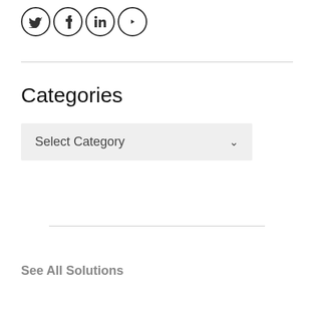[Figure (illustration): Four social media icon circles in a row: Twitter bird icon, Facebook F icon, LinkedIn In icon, YouTube play button icon. All dark/black outlined circles on white background.]
Categories
[Figure (screenshot): A dropdown select box with light gray background showing 'Select Category' text and a downward chevron arrow on the right.]
See All Solutions